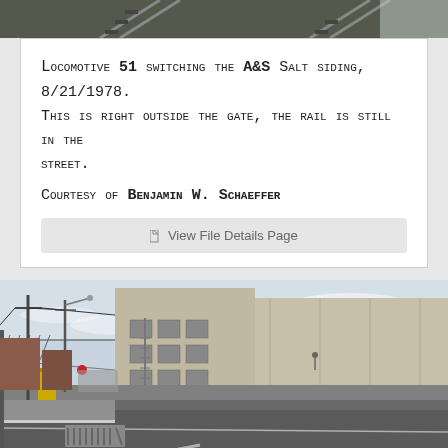[Figure (photo): Top partial photo strip showing railroad tracks, partially visible at the top of the page]
Locomotive 51 switching the A&S Salt siding, 8/21/1978. This is right outside the gate, the rail is still in the street. Courtesy of Benjamin W. Schaeffer
View File Details Page
[Figure (photo): Photograph of an industrial street scene showing large concrete warehouse buildings, a street with railroad tracks embedded in the pavement, utility poles, a chain-link fence on the left, and a yellow intermodal container. The rail tracks are visible running diagonally through the foreground street surface.]